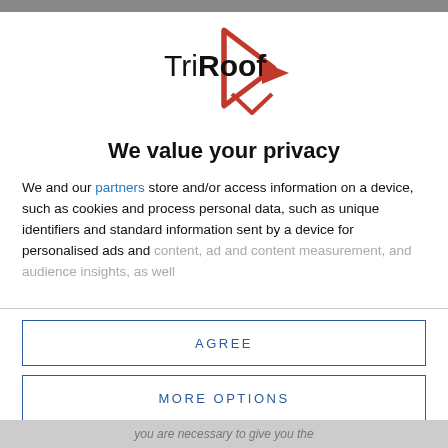[Figure (logo): TriRoof logo with red triangle/arrow pointing right and black text 'TriRoof']
We value your privacy
We and our partners store and/or access information on a device, such as cookies and process personal data, such as unique identifiers and standard information sent by a device for personalised ads and content, ad and content measurement, and audience insights, as well
AGREE
MORE OPTIONS
DISAGREE
you are necessary to give you the